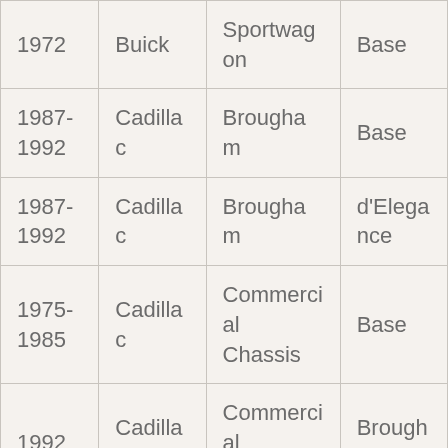| 1972 | Buick | Sportwagon | Base |
| 1987-1992 | Cadillac | Brougham | Base |
| 1987-1992 | Cadillac | Brougham | d'Elegance |
| 1975-1985 | Cadillac | Commercial Chassis | Base |
| 1992 | Cadillac | Commercial Chassis | Brougham |
| 1971- | Cadillac | DeVille | Base |